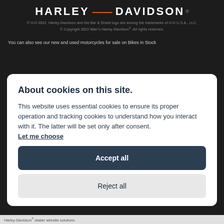[Figure (logo): Harley-Davidson logo in white text with orange dash separator on dark background]
© H-D 2022. Harley-Davidson and the Bar & Shield logo are among the trademarks of H-D U.S.A., LLC.
© Copyright 2022 Warr's Harley-Davidson®. All rights reserved.
You can also see our new and used motorcycles for sale on Bikes in Stock
About cookies on this site.
This website uses essential cookies to ensure its proper operation and tracking cookies to understand how you interact with it. The latter will be set only after consent. Let me choose
Accept all
Reject all
Harley-Davidson® dealer website solutions.